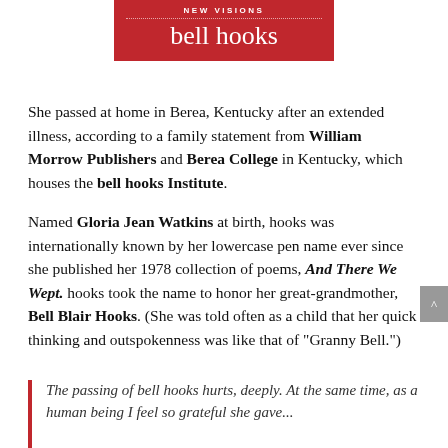[Figure (other): Red banner header with 'NEW VISIONS' in small caps and 'bell hooks' in large white serif text on a crimson/red background]
She passed at home in Berea, Kentucky after an extended illness, according to a family statement from William Morrow Publishers and Berea College in Kentucky, which houses the bell hooks Institute.
Named Gloria Jean Watkins at birth, hooks was internationally known by her lowercase pen name ever since she published her 1978 collection of poems, And There We Wept. hooks took the name to honor her great-grandmother, Bell Blair Hooks. (She was told often as a child that her quick thinking and outspokenness was like that of "Granny Bell.")
The passing of bell hooks hurts, deeply. At the same time, as a human being I feel so grateful she gave...